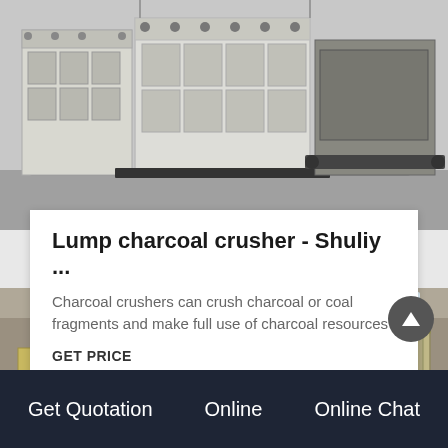[Figure (photo): Industrial lump charcoal crusher machine - heavy industrial equipment in white/grey color, multiple crusher units visible in a factory setting]
Lump charcoal crusher - Shuliy ...
Charcoal crushers can crush charcoal or coal fragments and make full use of charcoal resources
GET PRICE
[Figure (photo): Yellow/beige industrial cone crusher machines inside a large factory warehouse with high windows]
Get Quotation   Online   Online Chat